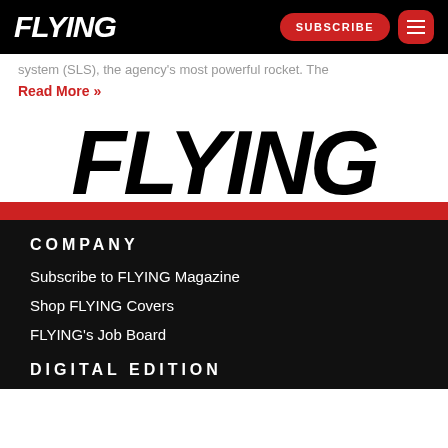FLYING
system (SLS), the agency's most powerful rocket. The
Read More »
[Figure (logo): FLYING magazine logo in large bold italic black text on white background with red stripe beneath]
COMPANY
Subscribe to FLYING Magazine
Shop FLYING Covers
FLYING's Job Board
DIGITAL EDITION